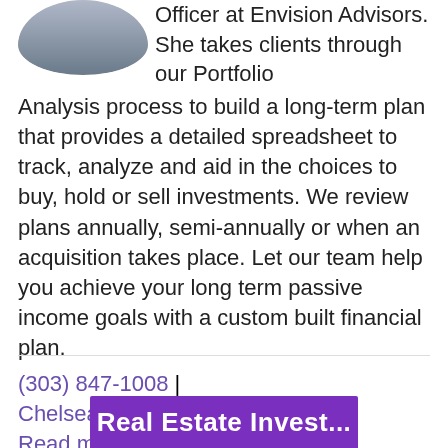[Figure (photo): Headshot photo of Chelsea, Chief Operating Officer at Envision Advisors]
Officer at Envision Advisors. She takes clients through our Portfolio Analysis process to build a long-term plan that provides a detailed spreadsheet to track, analyze and aid in the choices to buy, hold or sell investments. We review plans annually, semi-annually or when an acquisition takes place. Let our team help you achieve your long term passive income goals with a custom built financial plan.
(303) 847-1008 | Chelsea@envisionrea.com | Read more about Chelsea...